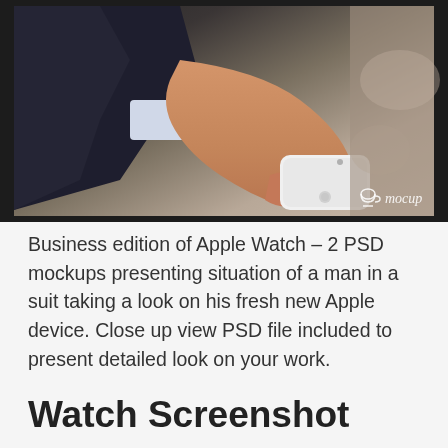[Figure (photo): A man in a business suit wearing an Apple Watch on his wrist, holding a white iPhone. The photo shows a close-up of his hand with the watch visible. A 'mocup' watermark/logo appears in the bottom right corner.]
Business edition of Apple Watch – 2 PSD mockups presenting situation of a man in a suit taking a look on his fresh new Apple device. Close up view PSD file included to present detailed look on your work.
Watch Screenshot